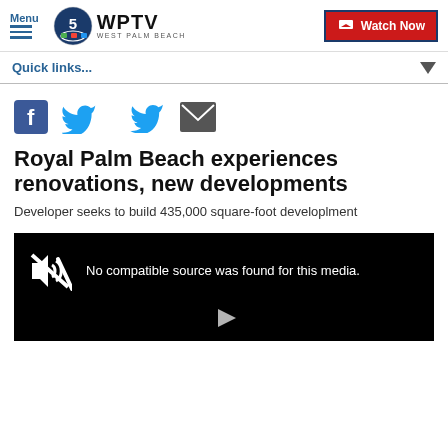Menu | WPTV WEST PALM BEACH | Watch Now
Quick links...
[Figure (other): Social share icons: Facebook, Twitter, Email]
Royal Palm Beach experiences renovations, new developments
Developer seeks to build 435,000 square-foot developlment
[Figure (other): Video player showing: No compatible source was found for this media.]